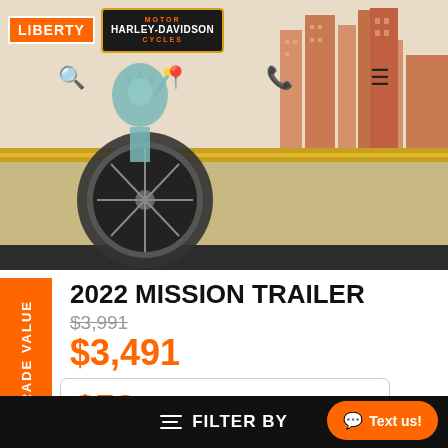[Figure (photo): Liberty Harley-Davidson dealership website header with Statue of Liberty, city skyline, and a motorcycle wheel/trailer on gravel road]
2022 MISSION TRAILER
$3,991 (original price, struck through)
$3,491
$58/MO  PRE-QUALIFY INSTANTLY
TRADE VALUE
FILTER BY   Text us!